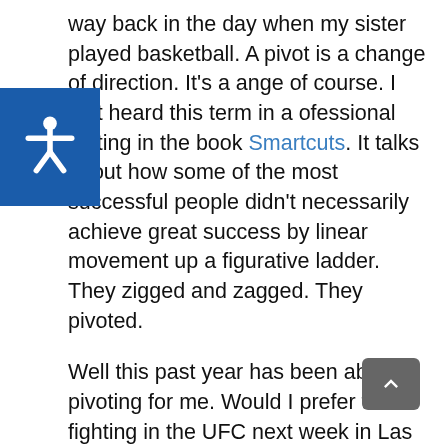way back in the day when my sister played basketball. A pivot is a change of direction. It's a change of course. I first heard this term in a professional setting in the book Smartcuts. It talks about how some of the most successful people didn't necessarily achieve great success by linear movement up a figurative ladder. They zigged and zagged. They pivoted.
Well this past year has been about pivoting for me. Would I prefer to be fighting in the UFC next week in Las Vegas? Probably. Am I happy now? Absolutely.
We don't always get what we want, but we can make what we want out of what we get.
The result of my pivoting? A new autobiography (Driven) and a budding speaking career.